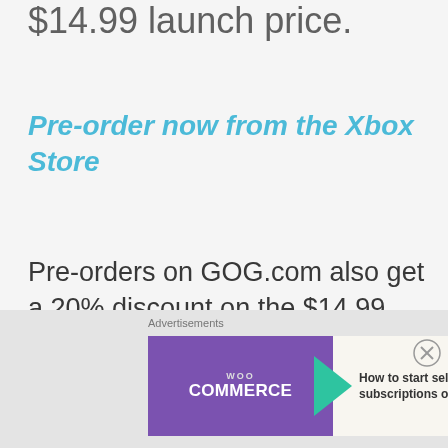$14.99 launch price.
Pre-order now from the Xbox Store
Pre-orders on GOG.com also get a 20% discount on the $14.99 launch price. In addition, as well as the full game, the GOG bundle includes: 7
[Figure (screenshot): WooCommerce advertisement banner with purple logo and text 'How to start selling subscriptions online']